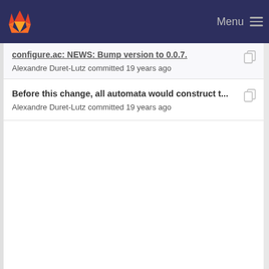Menu
configure.ac: NEWS: Bump version to 0.0.7. — Alexandre Duret-Lutz committed 19 years ago
Before this change, all automata would construct t... — Alexandre Duret-Lutz committed 19 years ago